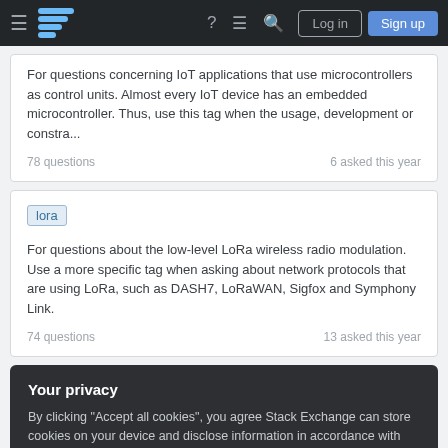Stack Exchange navigation bar with Log in and Sign up buttons
For questions concerning IoT applications that use microcontrollers as control units. Almost every IoT device has an embedded microcontroller. Thus, use this tag when the usage, development or constra...
78 questions	6 asked this year
lora
For questions about the low-level LoRa wireless radio modulation. Use a more specific tag when asking about network protocols that are using LoRa, such as DASH7, LoRaWAN, Sigfox and Symphony Link.
74 questions	13 asked this year
Your privacy
By clicking "Accept all cookies", you agree Stack Exchange can store cookies on your device and disclose information in accordance with our Cookie Policy.